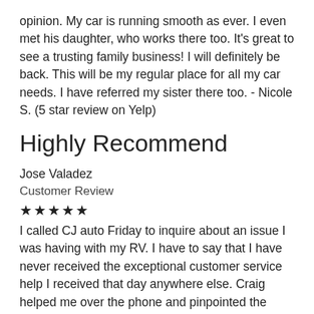opinion. My car is running smooth as ever. I even met his daughter, who works there too. It's great to see a trusting family business! I will definitely be back. This will be my regular place for all my car needs. I have referred my sister there too. - Nicole S. (5 star review on Yelp)
Highly Recommend
Jose Valadez
Customer Review
★★★★★
I called CJ auto Friday to inquire about an issue I was having with my RV. I have to say that I have never received the exceptional customer service help I received that day anywhere else. Craig helped me over the phone and pinpointed the issue right away. His courtesy and superior customer service skills far exceeded any other company that deals with RV problems within a 100 mile radius. He called me back to further inquire on my issue and offered